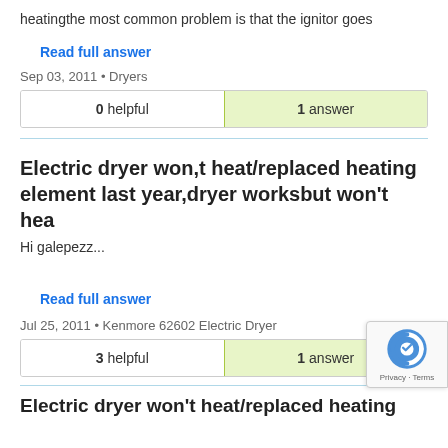heatingthe most common problem is that the ignitor goes
Read full answer
Sep 03, 2011 • Dryers
| 0 helpful | 1 answer |
| --- | --- |
Electric dryer won,t heat/replaced heating element last year,dryer worksbut won't hea
Hi galepezz...
Read full answer
Jul 25, 2011 • Kenmore 62602 Electric Dryer
| 3 helpful | 1 answer |
| --- | --- |
Electric dryer won't heat/replaced heating